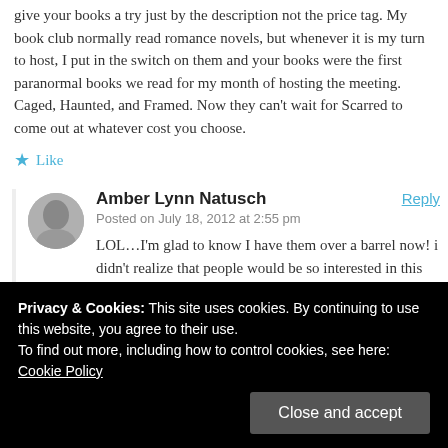give your books a try just by the description not the price tag. My book club normally read romance novels, but whenever it is my turn to host, I put in the switch on them and your books were the first paranormal books we read for my month of hosting the meeting. Caged, Haunted, and Framed. Now they can't wait for Scarred to come out at whatever cost you choose.
★ Like
Amber Lynn Natusch
Posted on July 18, 2012 at 2:55 pm
LOL…I'm glad to know I have them over a barrel now! i didn't realize that people would be so interested in this post; it's exciting. I just want people to understand why
Privacy & Cookies: This site uses cookies. By continuing to use this website, you agree to their use.
To find out more, including how to control cookies, see here: Cookie Policy
Close and accept
so many people have responded favorably to the